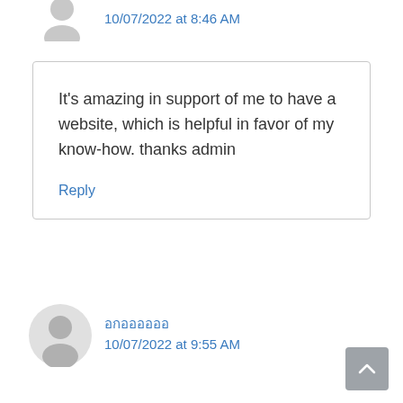10/07/2022 at 8:46 AM
It's amazing in support of me to have a website, which is helpful in favor of my know-how. thanks admin
Reply
อกออออออ
10/07/2022 at 9:55 AM